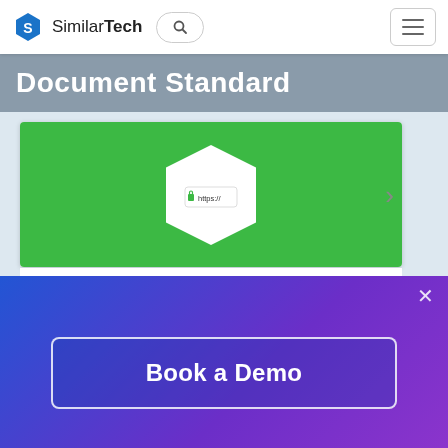SimilarTech
Document Standard
[Figure (screenshot): HTTPS technology card with green background and white hexagon containing a browser HTTPS icon]
HTTPS
Websites Using HTTPS
Websites using https protocol.
Book a Demo